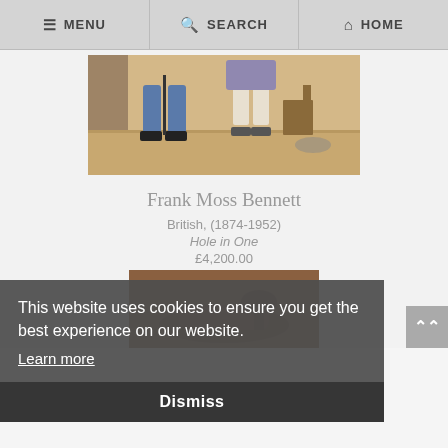MENU   SEARCH   HOME
[Figure (photo): Partial view of a painting showing two figures from the waist down in period clothing in an interior scene]
Frank Moss Bennett
British, (1874-1952)
Hole in One
£4,200.00
This website uses cookies to ensure you get the best experience on our website.
Learn more
Dismiss
[Figure (photo): Bottom portion of a second painting showing what appears to be a horse]